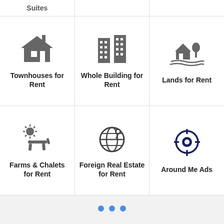[Figure (screenshot): Mobile app UI showing real estate category grid with icons for Townhouses for Rent, Whole Building for Rent, Lands for Rent, Farms & Chalets for Rent, Foreign Real Estate for Rent, Around Me Ads, plus bottom navigation bar with Home, Chats, Add Post, Notices, Account tabs.]
Suites
Townhouses for Rent
Whole Building for Rent
Lands for Rent
Farms & Chalets for Rent
Foreign Real Estate for Rent
Around Me Ads
Real Estate
Home
Chats
Add Post
Notices
Account